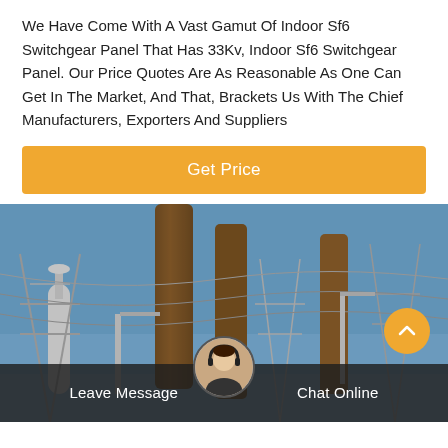We Have Come With A Vast Gamut Of Indoor Sf6 Switchgear Panel That Has 33Kv, Indoor Sf6 Switchgear Panel. Our Price Quotes Are As Reasonable As One Can Get In The Market, And That, Brackets Us With The Chief Manufacturers, Exporters And Suppliers
Get Price
[Figure (photo): Electrical substation with large brown bushing insulators, transmission line towers and pylons against a blue sky. A customer service representative avatar is shown at the bottom center.]